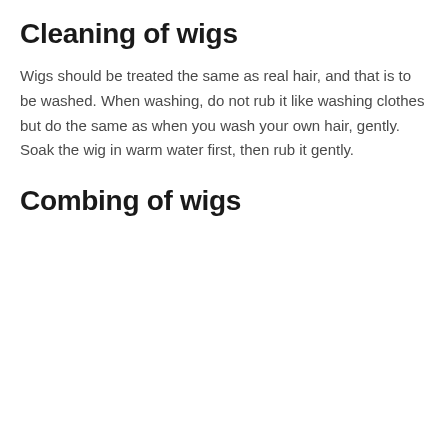Cleaning of wigs
Wigs should be treated the same as real hair, and that is to be washed. When washing, do not rub it like washing clothes but do the same as when you wash your own hair, gently. Soak the wig in warm water first, then rub it gently.
Combing of wigs